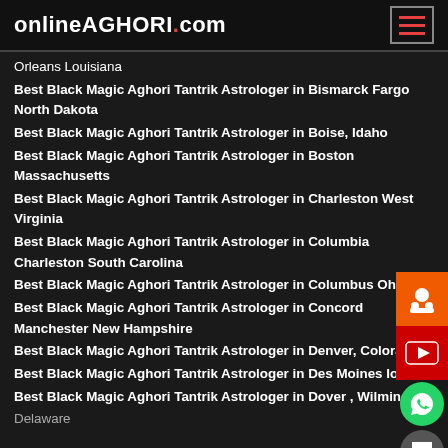onlineAGHORI.com
Orleans Louisiana
Best Black Magic Aghori Tantrik Astrologer in Bismarck Fargo North Dakota
Best Black Magic Aghori Tantrik Astrologer in Boise, Idaho
Best Black Magic Aghori Tantrik Astrologer in Boston Massachusetts
Best Black Magic Aghori Tantrik Astrologer in Charleston West Virginia
Best Black Magic Aghori Tantrik Astrologer in Columbia Charleston South Carolina
Best Black Magic Aghori Tantrik Astrologer in Columbus Ohio
Best Black Magic Aghori Tantrik Astrologer in Concord Manchester New Hampshire
Best Black Magic Aghori Tantrik Astrologer in Denver, Colorado
Best Black Magic Aghori Tantrik Astrologer in Des Moines Iowa
Best Black Magic Aghori Tantrik Astrologer in Dover , Wilmington Delaware